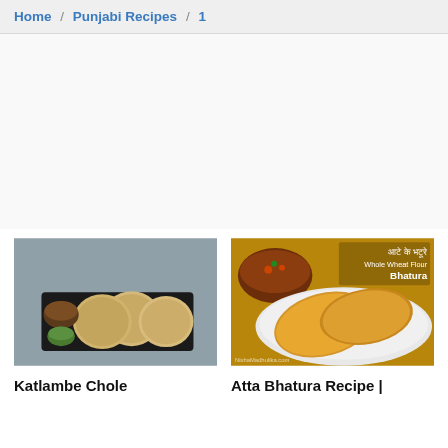Home / Punjabi Recipes / 1
[Figure (photo): Food photo of Katlambe Chole: fried flat bread rounds on a black tray with a small bowl of dark chole curry and green chutney]
[Figure (photo): Food photo of Atta Bhatura Recipe: large wheat flour bhaturas on a white plate with a bowl of chole in background, overlay text reads 'आटे के भटूरे Whole Wheat Flour Bhatura']
Katlambe Chole
Atta Bhatura Recipe |